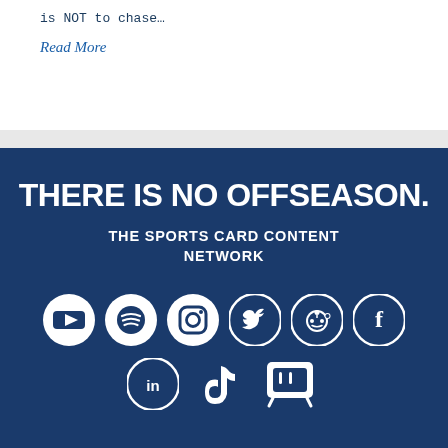is NOT to chase…
Read More
THERE IS NO OFFSEASON.
THE SPORTS CARD CONTENT NETWORK
[Figure (infographic): Row of social media icons: YouTube, Spotify, Instagram, Twitter, Reddit, Facebook; second row: LinkedIn, TikTok, Twitch]